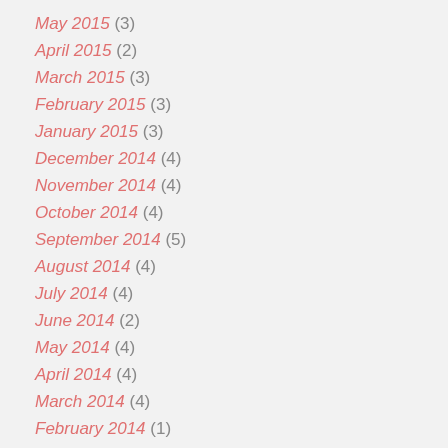May 2015 (3)
April 2015 (2)
March 2015 (3)
February 2015 (3)
January 2015 (3)
December 2014 (4)
November 2014 (4)
October 2014 (4)
September 2014 (5)
August 2014 (4)
July 2014 (4)
June 2014 (2)
May 2014 (4)
April 2014 (4)
March 2014 (4)
February 2014 (1)